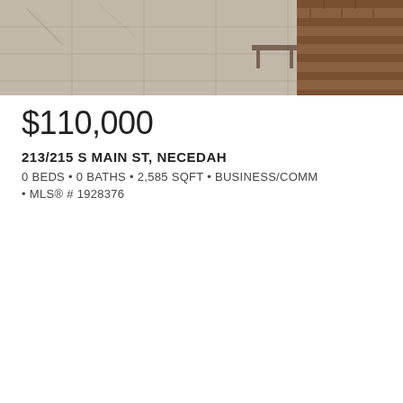[Figure (photo): Exterior photo showing stone/tile flooring and brick wall with bench at a commercial property at 213/215 S Main St, Necedah]
$110,000
213/215 S MAIN ST, NECEDAH
0 BEDS • 0 BATHS • 2,585 SQFT • BUSINESS/COMM
• MLS® # 1928376